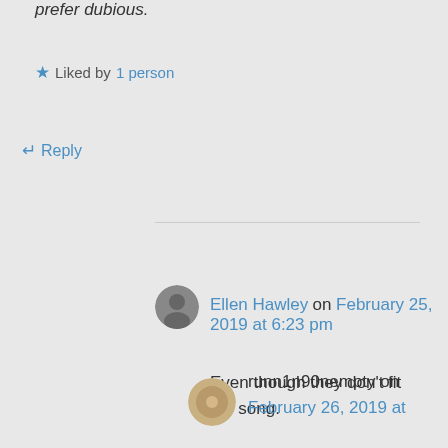prefer dubious.
Liked by 1 person
Reply
Ellen Hawley on February 25, 2019 at 6:23 pm
Even though they don't fit the song.
Liked by 1 person
Reply
runn1n90nempty on February 26, 2019 at